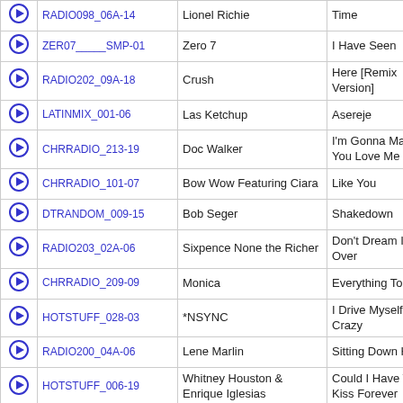|  | ID | Artist | Song |
| --- | --- | --- | --- |
| ▶ | RADIO098_06A-14 | Lionel Richie | Time |
| ▶ | ZER07_____SMP-01 | Zero 7 | I Have Seen |
| ▶ | RADIO202_09A-18 | Crush | Here [Remix Version] |
| ▶ | LATINMIX_001-06 | Las Ketchup | Asereje |
| ▶ | CHRRADIO_213-19 | Doc Walker | I'm Gonna Make You Love Me |
| ▶ | CHRRADIO_101-07 | Bow Wow Featuring Ciara | Like You |
| ▶ | DTRANDOM_009-15 | Bob Seger | Shakedown |
| ▶ | RADIO203_02A-06 | Sixpence None the Richer | Don't Dream It's Over |
| ▶ | CHRRADIO_209-09 | Monica | Everything To Me |
| ▶ | HOTSTUFF_028-03 | *NSYNC | I Drive Myself Crazy |
| ▶ | RADIO200_04A-06 | Lene Marlin | Sitting Down Here |
| ▶ | HOTSTUFF_006-19 | Whitney Houston & Enrique Iglesias | Could I Have This Kiss Forever |
| ▶ | CHRRADIO_225-19 | Johnny Reid | Let's Go Higher |
| ▶ | BARENKDL_MRN-03 | Barenaked Ladies | Pinch Me |
| ▶ | HOTTROCK_002-01 | Blessid Union of Souls | Oh Virginia |
| ▶ | WOMNSONG_005-01 | LeAnn Rimes | I Need You |
| ▶ | CHRRADIO_160-17 | Raine Maida | Sex Love & Honey |
| ▶ | 2UNLIMTD_GH1-11 | 2 Unlimited | Nothing Like the Rain |
| ▶ | CHRRADIO_159-18 | Tim McGraw | Suspicions |
| ▶ | CHRRADIO_237-07 | Chris Brown | She Ain't You |
| ▶ | HOTTROCK_021-19 | Mollies Revenge | I Wanna Be |